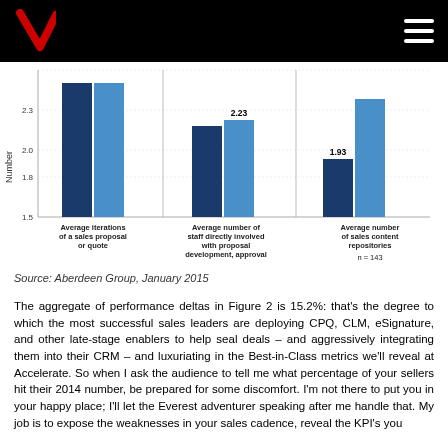[Figure (grouped-bar-chart): Figure 2 - grouped bar chart]
n = 143
Source: Aberdeen Group, January 2015
The aggregate of performance deltas in Figure 2 is 15.2%: that's the degree to which the most successful sales leaders are deploying CPQ, CLM, eSignature, and other late-stage enablers to help seal deals – and aggressively integrating them into their CRM – and luxuriating in the Best-in-Class metrics we'll reveal at Accelerate. So when I ask the audience to tell me what percentage of your sellers hit their 2014 number, be prepared for some discomfort. I'm not there to put you in your happy place; I'll let the Everest adventurer speaking after me handle that. My job is to expose the weaknesses in your sales cadence, reveal the KPI's you